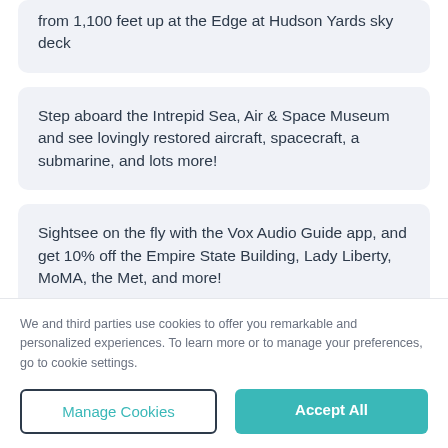from 1,100 feet up at the Edge at Hudson Yards sky deck
Step aboard the Intrepid Sea, Air & Space Museum and see lovingly restored aircraft, spacecraft, a submarine, and lots more!
Sightsee on the fly with the Vox Audio Guide app, and get 10% off the Empire State Building, Lady Liberty, MoMA, the Met, and more!
We and third parties use cookies to offer you remarkable and personalized experiences. To learn more or to manage your preferences, go to cookie settings.
Manage Cookies
Accept All